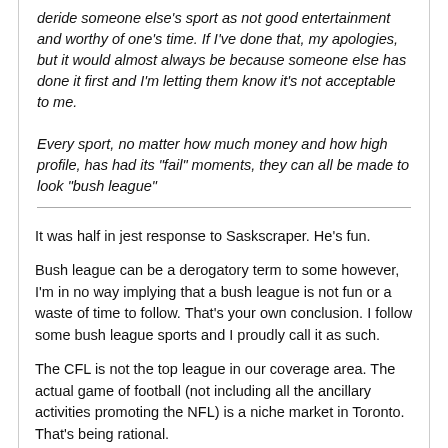deride someone else's sport as not good entertainment and worthy of one's time. If I've done that, my apologies, but it would almost always be because someone else has done it first and I'm letting them know it's not acceptable to me.

Every sport, no matter how much money and how high profile, has had its "fail" moments, they can all be made to look "bush league"
It was half in jest response to Saskscraper. He's fun.

Bush league can be a derogatory term to some however, I'm in no way implying that a bush league is not fun or a waste of time to follow. That's your own conclusion. I follow some bush league sports and I proudly call it as such.

The CFL is not the top league in our coverage area. The actual game of football (not including all the ancillary activities promoting the NFL) is a niche market in Toronto. That's being rational.
elly63
Aug 10, 2017 6:55 PM
People may not like the idea or its execution but this is good marketing that helps create brand awareness without beating you on the head.
Riders Make “President Carter” Throwback Radio Feature To Support